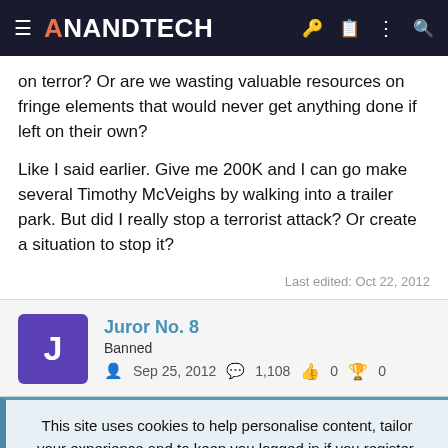AnandTech
on terror? Or are we wasting valuable resources on fringe elements that would never get anything done if left on their own?
Like I said earlier. Give me 200K and I can go make several Timothy McVeighs by walking into a trailer park. But did I really stop a terrorist attack? Or create a situation to stop it?
Last edited: Oct 22, 2012
Juror No. 8
Banned
Sep 25, 2012  1,108  0  0
This site uses cookies to help personalise content, tailor your experience and to keep you logged in if you register.
By continuing to use this site, you are consenting to our use of cookies.